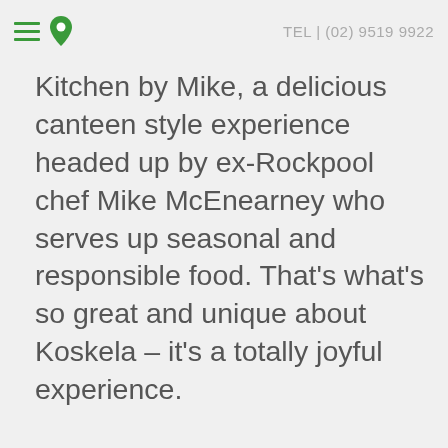TEL | (02) 9519 9922
Kitchen by Mike, a delicious canteen style experience headed up by ex-Rockpool chef Mike McEnearney who serves up seasonal and responsible food. That’s what’s so great and unique about Koskela – it’s a totally joyful experience.
[Figure (photo): Partial photo of what appears to be a scaffolding or industrial ceiling/roof structure, partially visible at the bottom of the page.]